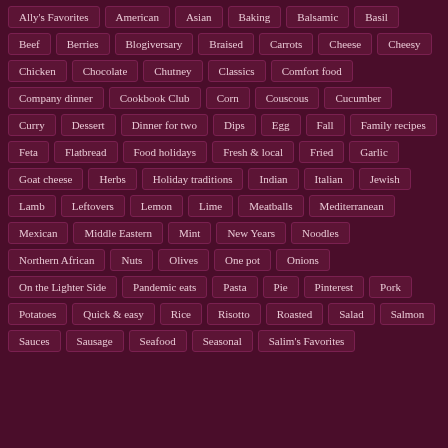Ally's Favorites
American
Asian
Baking
Balsamic
Basil
Beef
Berries
Blogiversary
Braised
Carrots
Cheese
Cheesy
Chicken
Chocolate
Chutney
Classics
Comfort food
Company dinner
Cookbook Club
Corn
Couscous
Cucumber
Curry
Dessert
Dinner for two
Dips
Egg
Fall
Family recipes
Feta
Flatbread
Food holidays
Fresh & local
Fried
Garlic
Goat cheese
Herbs
Holiday traditions
Indian
Italian
Jewish
Lamb
Leftovers
Lemon
Lime
Meatballs
Mediterranean
Mexican
Middle Eastern
Mint
New Years
Noodles
Northern African
Nuts
Olives
One pot
Onions
On the Lighter Side
Pandemic eats
Pasta
Pie
Pinterest
Pork
Potatoes
Quick & easy
Rice
Risotto
Roasted
Salad
Salmon
Sauces
Sausage
Seafood
Seasonal
Salim's Favorites